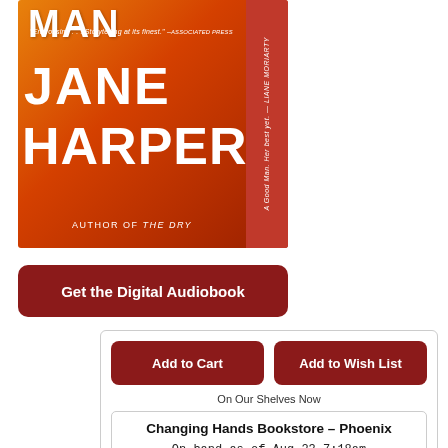[Figure (photo): Book cover of a Jane Harper novel showing orange/red desert background with large white text 'MAN', 'JANE', 'HARPER', and 'AUTHOR OF THE DRY' at bottom. Side bar contains a quote. Cover quote: "Engrossing...Storytelling at its finest." –Associated Press]
Get the Digital Audiobook
Add to Cart
Add to Wish List
On Our Shelves Now
Changing Hands Bookstore – Phoenix
On hand as of Aug 23 7:18am
(MYSTERY)